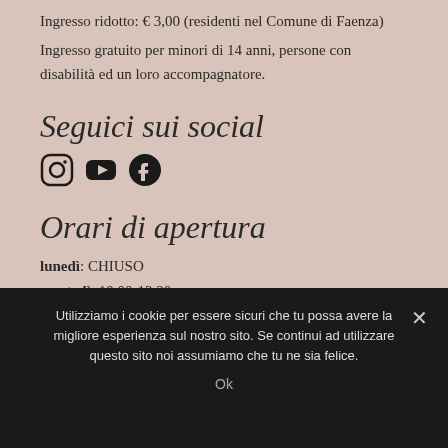Ingresso ridotto: € 3,00 (residenti nel Comune di Faenza)
Ingresso gratuito per minori di 14 anni, persone con disabilità ed un loro accompagnatore.
Seguici sui social
[Figure (illustration): Social media icons: Instagram, YouTube, Facebook]
Orari di apertura
lunedì: CHIUSO
martedì: 10.00-12.30
mercoledì: 16.00-19.00
Utilizziamo i cookie per essere sicuri che tu possa avere la migliore esperienza sul nostro sito. Se continui ad utilizzare questo sito noi assumiamo che tu ne sia felice.
Ok